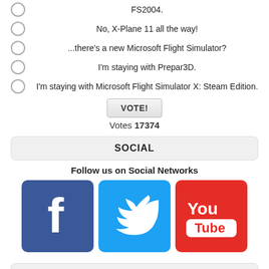FS2004.
No, X-Plane 11 all the way!
...there's a new Microsoft Flight Simulator?
I'm staying with Prepar3D.
I'm staying with Microsoft Flight Simulator X: Steam Edition.
Votes 17374
SOCIAL
Follow us on Social Networks
[Figure (logo): Facebook, Twitter, and YouTube social media icons]
MUST-READS